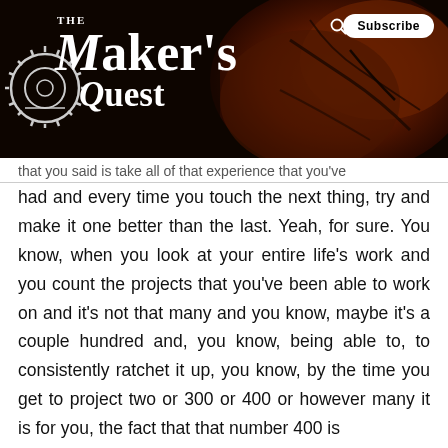[Figure (logo): The Maker's Quest logo with gear icon on a dark brown background with cracked red rock image]
that you said is take all of that experience that you've
had and every time you touch the next thing, try and make it one better than the last. Yeah, for sure. You know, when you look at your entire life's work and you count the projects that you've been able to work on and it's not that many and you know, maybe it's a couple hundred and, you know, being able to, to consistently ratchet it up, you know, by the time you get to project two or 300 or 400 or however many it is for you, the fact that that number 400 is